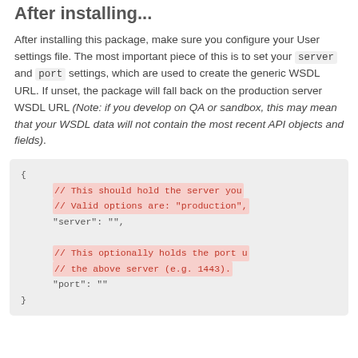After installing...
After installing this package, make sure you configure your User settings file. The most important piece of this is to set your server and port settings, which are used to create the generic WSDL URL. If unset, the package will fall back on the production server WSDL URL (Note: if you develop on QA or sandbox, this may mean that your WSDL data will not contain the most recent API objects and fields).
{
    // This should hold the server you
    // Valid options are: "production",
    "server": "",

    // This optionally holds the port u
    // the above server (e.g. 1443).
    "port": ""
}